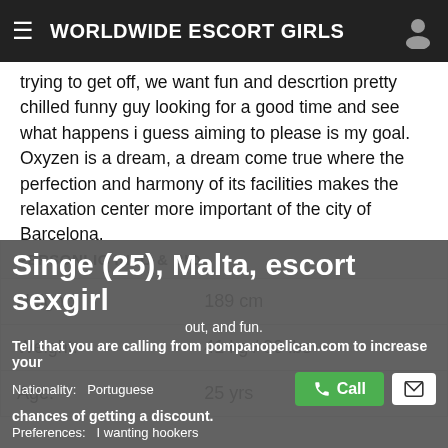WORLDWIDE ESCORT GIRLS
trying to get off, we want fun and descrtion pretty chilled funny guy looking for a good time and see what happens i guess aiming to please is my goal. Oxyzen is a dream, a dream come true where the perfection and harmony of its facilities makes the relaxation center more important of the city of Barcelona.
| PERSONLIG INFO & BIO |  |
| --- | --- |
| Height: | 189 cm |
| Weight: | 41 kg / 90 lbs |
| Age: | 25 yrs |
Singe (25), Malta, escort sexgirl
out, and fun.
Tell that you are calling from pompanopelican.com to increase your
Nationality:   Portuguese
chances of getting a discount.
Preferences:   I wanting hookers